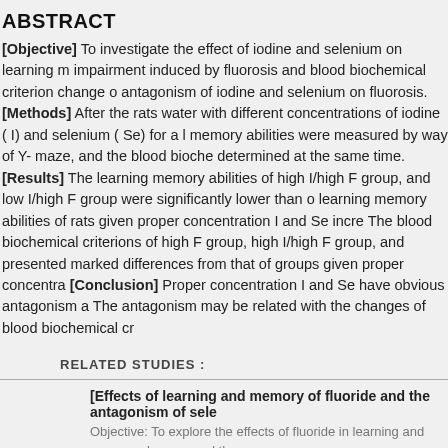ABSTRACT
[Objective] To investigate the effect of iodine and selenium on learning memory impairment induced by fluorosis and blood biochemical criterion change of antagonism of iodine and selenium on fluorosis. [Methods] After the rats water with different concentrations of iodine ( I) and selenium ( Se) for a long time, memory abilities were measured by way of Y- maze, and the blood biochemical determined at the same time. [Results] The learning memory abilities of high I/high F group, and low I/high F group were significantly lower than the learning memory abilities of rats given proper concentration I and Se increased. The blood biochemical criterions of high F group, high I/high F group, and presented marked differences from that of groups given proper concentration. [Conclusion] Proper concentration I and Se have obvious antagonism a fluorosis. The antagonism may be related with the changes of blood biochemical cr
RELATED STUDIES :
[Effects of learning and memory of fluoride and the antagonism of selenium]
Objective: To explore the effects of fluoride in learning and memory changes and the by way of animal experiments. Methods: 32 three-week-old SD rats,equal male and